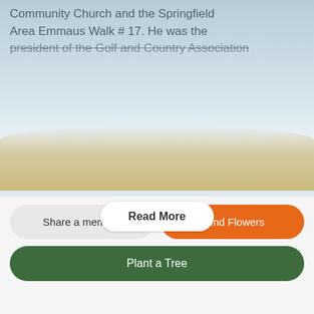Community Church and the Springfield Area Emmaus Walk # 17. He was the president of the Golf and Country Association
[Figure (photo): Beach scene with sand and ocean/sky background]
Read More
Services
VISITATION
Thursday
May 19, 2022
6:00 PM to 8:00 PM
Jones Kenney Zechman
Funeral Home
Directions
Text Details
Email Details
Share a memory
Send Flowers
Plant a Tree